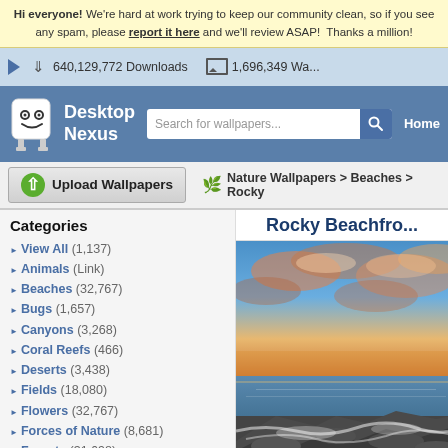Hi everyone! We're hard at work trying to keep our community clean, so if you see any spam, please report it here and we'll review ASAP! Thanks a million!
640,129,772 Downloads   1,696,349 Wallpapers
[Figure (screenshot): Desktop Nexus logo with robot mascot icon]
Search for wallpapers...
Home
Upload Wallpapers
Nature Wallpapers > Beaches > Rocky
Categories
View All (1,137)
Animals (Link)
Beaches (32,767)
Bugs (1,657)
Canyons (3,268)
Coral Reefs (466)
Deserts (3,438)
Fields (18,080)
Flowers (32,767)
Forces of Nature (8,681)
Forests (31,698)
Grass (3,794)
Greenroofs (318)
Lakes (32,767)
Mountains (32,767)
Rocky Beachfro...
[Figure (photo): Rocky beachfront at sunset with dramatic clouds in orange, pink and blue sky, ocean waves crashing over rocks]